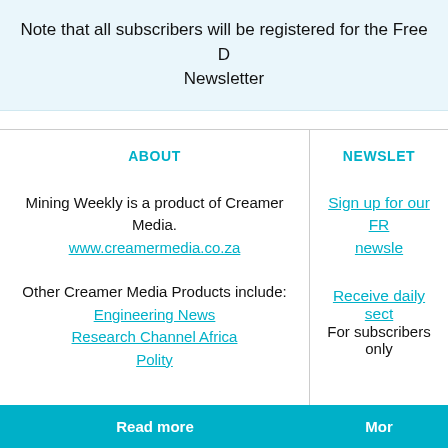Note that all subscribers will be registered for the Free Daily Newsletter
ABOUT
Mining Weekly is a product of Creamer Media.
www.creamermedia.co.za

Other Creamer Media Products include:
Engineering News
Research Channel Africa
Polity
NEWSLETTERS
Sign up for our FREE newsletters
Receive daily sector newsletters.
For subscribers only